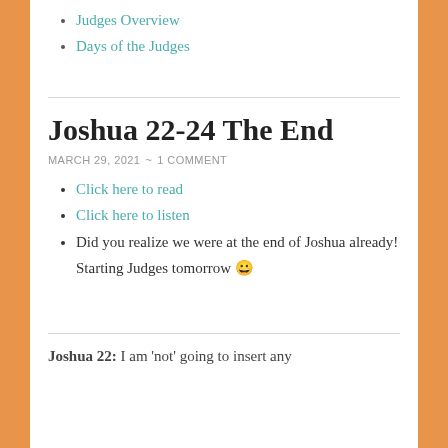Judges Overview
Days of the Judges
Joshua 22-24 The End
MARCH 29, 2021 ~ 1 COMMENT
Click here to read
Click here to listen
Did you realize we were at the end of Joshua already!  Starting Judges tomorrow 😀
Joshua 22: I am 'not' going to insert any